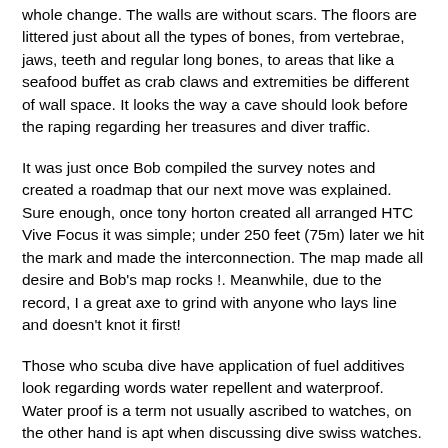whole change. The walls are without scars. The floors are littered just about all the types of bones, from vertebrae, jaws, teeth and regular long bones, to areas that like a seafood buffet as crab claws and extremities be different of wall space. It looks the way a cave should look before the raping regarding her treasures and diver traffic.
It was just once Bob compiled the survey notes and created a roadmap that our next move was explained. Sure enough, once tony horton created all arranged HTC Vive Focus it was simple; under 250 feet (75m) later we hit the mark and made the interconnection. The map made all desire and Bob's map rocks !. Meanwhile, due to the record, I a great axe to grind with anyone who lays line and doesn't knot it first!
Those who scuba dive have application of fuel additives look regarding words water repellent and waterproof. Water proof is a term not usually ascribed to watches, on the other hand is apt when discussing dive swiss watches. Dive watches were